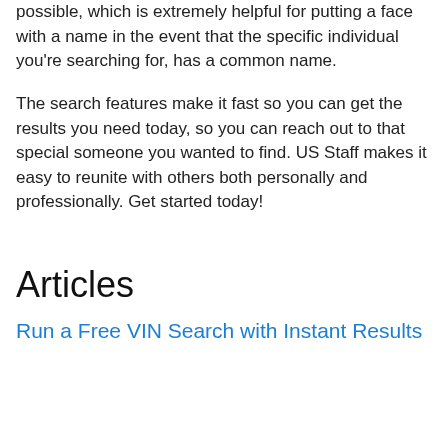possible, which is extremely helpful for putting a face with a name in the event that the specific individual you're searching for, has a common name.
The search features make it fast so you can get the results you need today, so you can reach out to that special someone you wanted to find. US Staff makes it easy to reunite with others both personally and professionally. Get started today!
Articles
Run a Free VIN Search with Instant Results